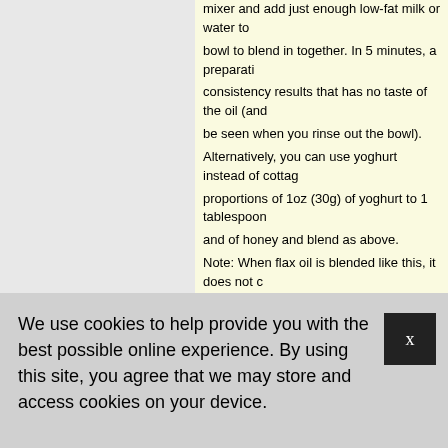mixer and add just enough low-fat milk or water to bowl to blend in together. In 5 minutes, a preparation consistency results that has no taste of the oil (and be seen when you rinse out the bowl).
Alternatively, you can use yoghurt instead of cottage proportions of 1oz (30g) of yoghurt to 1 tablespoon and of honey and blend as above.
Note: When flax oil is blended like this, it does not when given in large amounts. It reacts chemically with proteins of the cottage cheese, yoghurt, etc.
How to Prepare 'the Mayo' (Mayonnaise)
Mix together 2 tablespoons (30ml) flax oil, 2 tables 2 tablespoons (30ml) yoghurt.
Then add 2 tablespoons (30ml) of lemon juice (or a and add 1 teaspoon (2.5g) mustard plus some herb or dill.
Next add 2 or 3 slices of health food store pickl – read label!) and a pinch of herbal salts.
(The above mayonnaise plus lots of mustard and a
We use cookies to help provide you with the best possible online experience. By using this site, you agree that we may store and access cookies on your device.